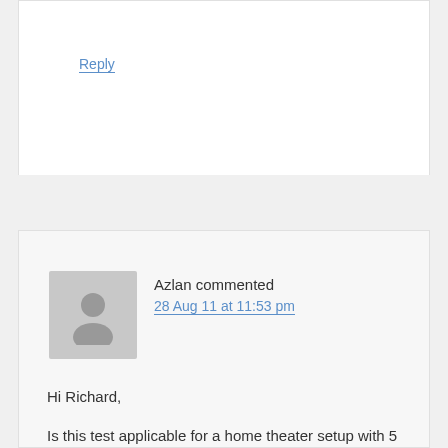Reply
Azlan commented
28 Aug 11 at 11:53 pm
Hi Richard,
Is this test applicable for a home theater setup with 5 speakers? How do I check the surround speaker wirings and what effect mode should I put on my AVR? Setting it to output stereo sound can only test my 2 front speakers.
Thanks for your help...